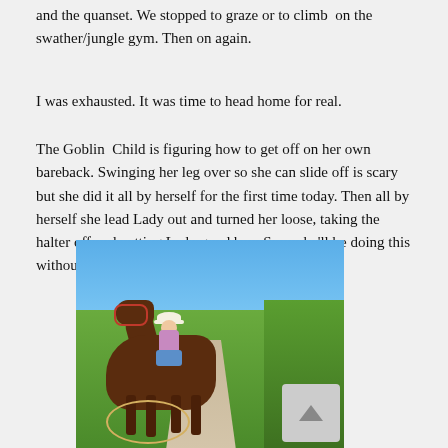and the quanset. We stopped to graze or to climb on the swather/jungle gym. Then on again.
I was exhausted. It was time to head home for real.
The Goblin Child is figuring how to get off on her own bareback. Swinging her leg over so she can slide off is scary but she did it all by herself for the first time today. Then all by herself she lead Lady out and turned her loose, taking the halter off and petting Lady good bye. Soon she'll be doing this without me leading them.
[Figure (photo): A young girl wearing a white hat sitting bareback on a brown horse with a red halter, on a dirt road flanked by green fields and corn, under a clear blue sky. A rope coil hangs below.]